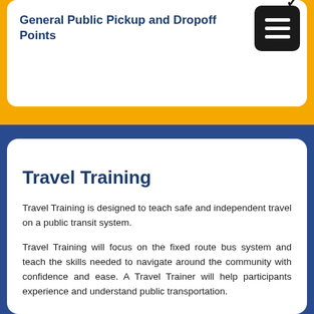General Public Pickup and Dropoff Points
Travel Training
Travel Training is designed to teach safe and independent travel on a public transit system.
Travel Training will focus on the fixed route bus system and teach the skills needed to navigate around the community with confidence and ease. A Travel Trainer will help participants experience and understand public transportation.